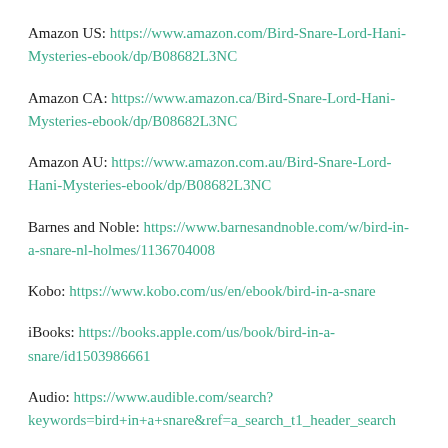Amazon US: https://www.amazon.com/Bird-Snare-Lord-Hani-Mysteries-ebook/dp/B08682L3NC
Amazon CA: https://www.amazon.ca/Bird-Snare-Lord-Hani-Mysteries-ebook/dp/B08682L3NC
Amazon AU: https://www.amazon.com.au/Bird-Snare-Lord-Hani-Mysteries-ebook/dp/B08682L3NC
Barnes and Noble: https://www.barnesandnoble.com/w/bird-in-a-snare-nl-holmes/1136704008
Kobo: https://www.kobo.com/us/en/ebook/bird-in-a-snare
iBooks: https://books.apple.com/us/book/bird-in-a-snare/id1503986661
Audio: https://www.audible.com/search?keywords=bird+in+a+snare&ref=a_search_t1_header_search
Universal Links for series: